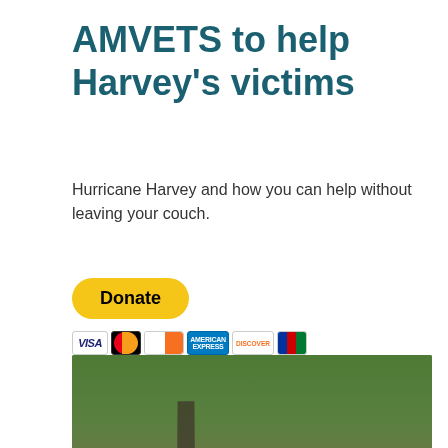AMVETS to help Harvey's victims
Hurricane Harvey and how you can help without leaving your couch.
[Figure (other): PayPal Donate button with payment card icons (Visa, Mastercard, Diners Club, American Express, Discover, JCB)]
[Figure (photo): Aerial photograph of a flooded area showing structures and vehicles surrounded by floodwater from Hurricane Harvey, with green fields visible in the background and a road cutting through the scene.]